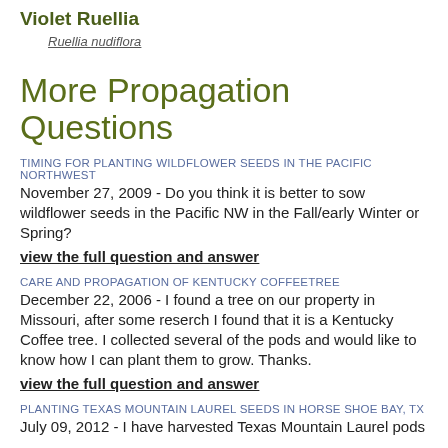Violet Ruellia
Ruellia nudiflora
More Propagation Questions
TIMING FOR PLANTING WILDFLOWER SEEDS IN THE PACIFIC NORTHWEST
November 27, 2009 - Do you think it is better to sow wildflower seeds in the Pacific NW in the Fall/early Winter or Spring?
view the full question and answer
CARE AND PROPAGATION OF KENTUCKY COFFEETREE
December 22, 2006 - I found a tree on our property in Missouri, after some reserch I found that it is a Kentucky Coffee tree. I collected several of the pods and would like to know how I can plant them to grow. Thanks.
view the full question and answer
PLANTING TEXAS MOUNTAIN LAUREL SEEDS IN HORSE SHOE BAY, TX
July 09, 2012 - I have harvested Texas Mountain Laurel pods...